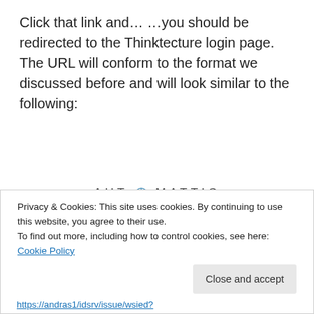Click that link and… …you should be redirected to the Thinktecture login page. The URL will conform to the format we discussed before and will look similar to the following:
[Figure (screenshot): Automattic website banner showing logo, tagline 'Build a better web and a better world.' and an Apply button, with a circular photo of a man on the right.]
Privacy & Cookies: This site uses cookies. By continuing to use this website, you agree to their use.
To find out more, including how to control cookies, see here: Cookie Policy
https://andras1/idsrv/issue/wsied?